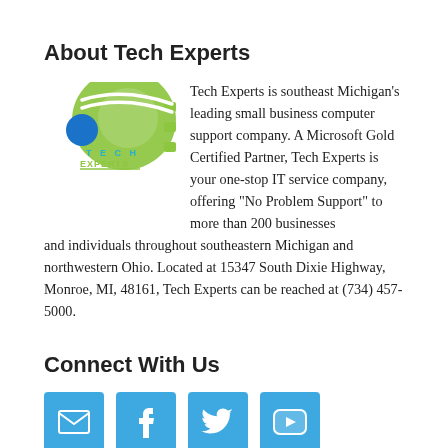About Tech Experts
[Figure (logo): Tech Experts logo: green swoosh with gear shape and blue circle, text TECH EXPERTS in teal and yellow-green]
Tech Experts is southeast Michigan's leading small business computer support company. A Microsoft Gold Certified Partner, Tech Experts is your one-stop IT service company, offering "No Problem Support" to more than 200 businesses and individuals throughout southeastern Michigan and northwestern Ohio. Located at 15347 South Dixie Highway, Monroe, MI, 48161, Tech Experts can be reached at (734) 457-5000.
Connect With Us
[Figure (infographic): Four blue square social media icon buttons: email envelope, Facebook f, Twitter bird, YouTube play button]